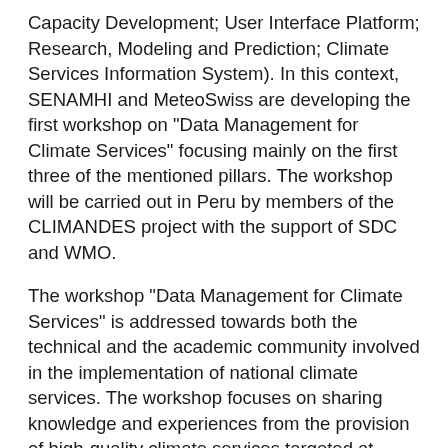Capacity Development; User Interface Platform; Research, Modeling and Prediction; Climate Services Information System). In this context, SENAMHI and MeteoSwiss are developing the first workshop on "Data Management for Climate Services" focusing mainly on the first three of the mentioned pillars. The workshop will be carried out in Peru by members of the CLIMANDES project with the support of SDC and WMO.
The workshop "Data Management for Climate Services" is addressed towards both the technical and the academic community involved in the implementation of national climate services. The workshop focuses on sharing knowledge and experiences from the provision of high-quality climate services targeted at WMO's priority areas and their citizens. The methodologies will cover topics such as quality control, homogenization, gridded data, climate products, use of open source software, and will include practical examples of climate services implemented in the Ibero-American region. The workshop will contribute to the continuous improvement of technical and academic capacities by creating a regional and global network of professionals active in the generation